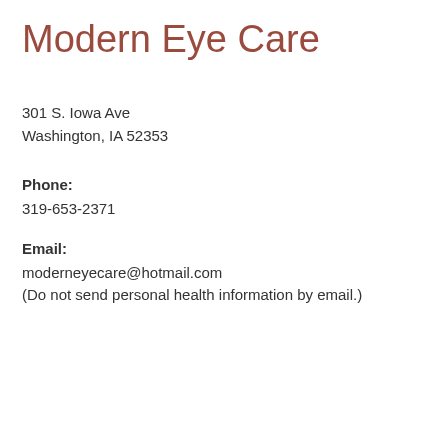Modern Eye Care
301 S. Iowa Ave
Washington, IA 52353
Phone:
319-653-2371
Email:
moderneyecare@hotmail.com
(Do not send personal health information by email.)